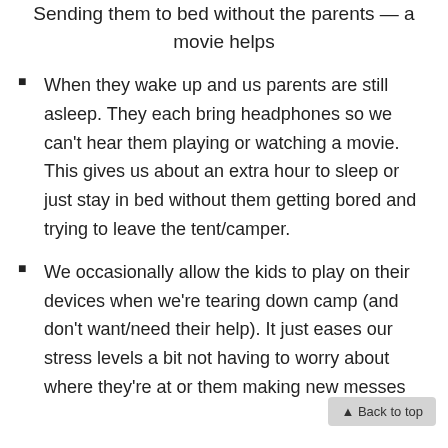Sending them to bed without the parents — a movie helps
When they wake up and us parents are still asleep. They each bring headphones so we can't hear them playing or watching a movie. This gives us about an extra hour to sleep or just stay in bed without them getting bored and trying to leave the tent/camper.
We occasionally allow the kids to play on their devices when we're tearing down camp (and don't want/need their help). It just eases our stress levels a bit not having to worry about where they're at or them making new messes